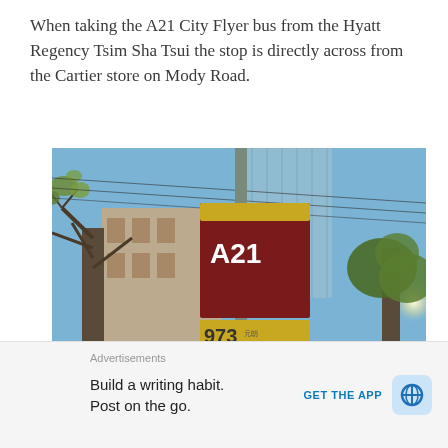When taking the A21 City Flyer bus from the Hyatt Regency Tsim Sha Tsui the stop is directly across from the Cartier store on Mody Road.
[Figure (photo): Street-level photo looking up at a Hong Kong bus stop pole showing signs for routes A21, 973, 796P, 796X, and N796, surrounded by trees and buildings against a blue sky.]
Advertisements
Build a writing habit. Post on the go.
GET THE APP